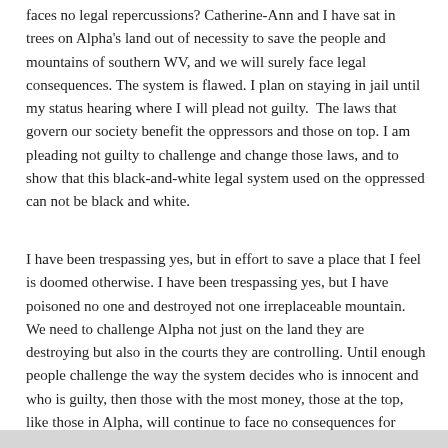faces no legal repercussions? Catherine-Ann and I have sat in trees on Alpha's land out of necessity to save the people and mountains of southern WV, and we will surely face legal consequences. The system is flawed. I plan on staying in jail until my status hearing where I will plead not guilty.  The laws that govern our society benefit the oppressors and those on top. I am pleading not guilty to challenge and change those laws, and to show that this black-and-white legal system used on the oppressed can not be black and white.
I have been trespassing yes, but in effort to save a place that I feel is doomed otherwise. I have been trespassing yes, but I have poisoned no one and destroyed not one irreplaceable mountain. We need to challenge Alpha not just on the land they are destroying but also in the courts they are controlling. Until enough people challenge the way the system decides who is innocent and who is guilty, then those with the most money, those at the top, like those in Alpha, will continue to face no consequences for their crimes.